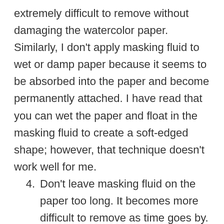extremely difficult to remove without damaging the watercolor paper. Similarly, I don't apply masking fluid to wet or damp paper because it seems to be absorbed into the paper and become permanently attached. I have read that you can wet the paper and float in the masking fluid to create a soft-edged shape; however, that technique doesn't work well for me.
4. Don't leave masking fluid on the paper too long. It becomes more difficult to remove as time goes by. The time limit for removing the masking fluid may vary by brand, yet I would try never to